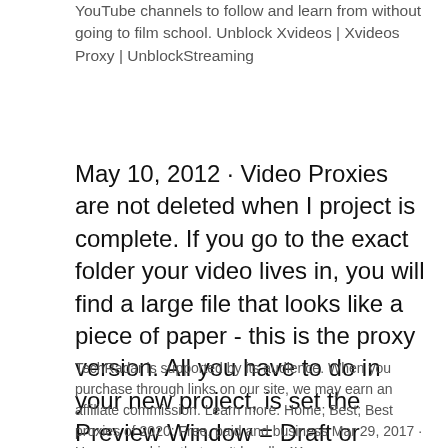YouTube channels to follow and learn from without going to film school. Unblock Xvideos | Xvideos Proxy | UnblockStreaming
May 10, 2012 · Video Proxies are not deleted when I project is complete. If you go to the exact folder your video lives in, you will find a large file that looks like a piece of paper - this is the proxy version. All you have to do in your new project, is set the Preview Window = Draft or Preview Quality, and the proxy version will play when you edit on the
TechRadar is supported by its audience. When you purchase through links on our site, we may earn an affiliate commission. Learn more. Home; Best; Best proxies of 2020: Free, paid and business Mar 29, 2017 · Have a machine that can't handle 4K